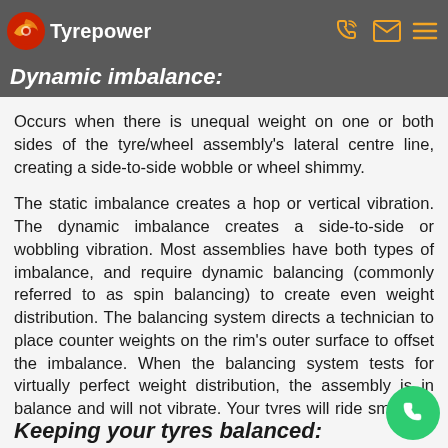Tyrepower
Dynamic imbalance:
Occurs when there is unequal weight on one or both sides of the tyre/wheel assembly's lateral centre line, creating a side-to-side wobble or wheel shimmy.
The static imbalance creates a hop or vertical vibration. The dynamic imbalance creates a side-to-side or wobbling vibration. Most assemblies have both types of imbalance, and require dynamic balancing (commonly referred to as spin balancing) to create even weight distribution. The balancing system directs a technician to place counter weights on the rim's outer surface to offset the imbalance. When the balancing system tests for virtually perfect weight distribution, the assembly is in balance and will not vibrate. Your tyres will ride smoothly and wear evenly (with regard to balance).
Keeping your tyres balanced: